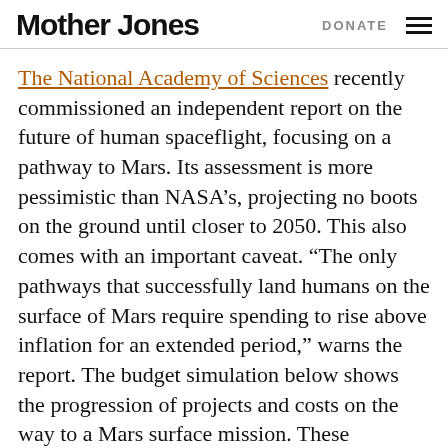Mother Jones | DONATE
The National Academy of Sciences recently commissioned an independent report on the future of human spaceflight, focusing on a pathway to Mars. Its assessment is more pessimistic than NASA’s, projecting no boots on the ground until closer to 2050. This also comes with an important caveat. “The only pathways that successfully land humans on the surface of Mars require spending to rise above inflation for an extended period,” warns the report. The budget simulation below shows the progression of projects and costs on the way to a Mars surface mission. These conclusions could change dramatically if international cost-sharing increases significantly.